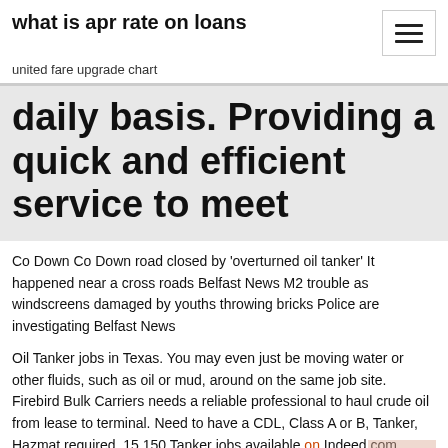what is apr rate on loans
united fare upgrade chart
daily basis. Providing a quick and efficient service to meet
Co Down Co Down road closed by 'overturned oil tanker' It happened near a cross roads Belfast News M2 trouble as windscreens damaged by youths throwing bricks Police are investigating Belfast News
Oil Tanker jobs in Texas. You may even just be moving water or other fluids, such as oil or mud, around on the same job site. Firebird Bulk Carriers needs a reliable professional to haul crude oil from lease to terminal. Need to have a CDL, Class A or B, Tanker, Hazmat required. 15,150 Tanker jobs available on Indeed.com. Apply to Truck Driver, Driver, Local Driver and